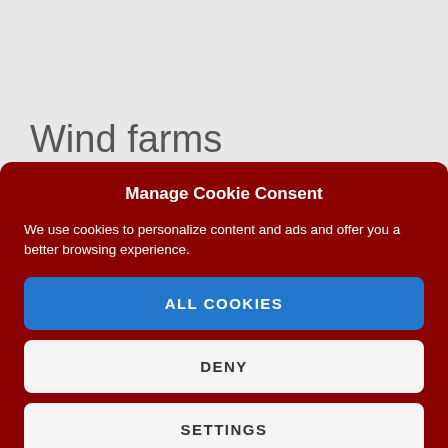Wind farms
Manage Cookie Consent
We use cookies to personalize content and ads and offer you a better browsing experience.
ALL COOKIES
DENY
SETTINGS